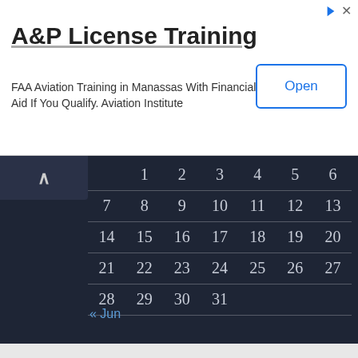[Figure (other): Advertisement banner for A&P License Training. Shows title 'A&P License Training', body text 'FAA Aviation Training in Manassas With Financial Aid If You Qualify. Aviation Institute', and an 'Open' button.]
|  | 1 | 2 | 3 | 4 | 5 | 6 |
| --- | --- | --- | --- | --- | --- | --- |
| 7 | 8 | 9 | 10 | 11 | 12 | 13 |
| 14 | 15 | 16 | 17 | 18 | 19 | 20 |
| 21 | 22 | 23 | 24 | 25 | 26 | 27 |
| 28 | 29 | 30 | 31 |  |  |  |
« Jun